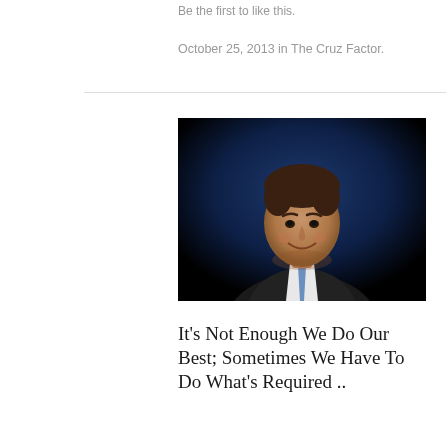Be the first to like this.
October 25, 2013 in The Cruz Factor.
[Figure (photo): Portrait photo of Ted Cruz, a man in a dark suit with a blue tie, smiling, against a dark blue/black background.]
It’s Not Enough We Do Our Best; Sometimes We Have To Do What’s Required ..
En-Garde Patriots!! The Obot robots are after Ted Cruz and the rest of the gang of newbies as they stand up together in their quest to change the corruption of Washington DC … The latest is a